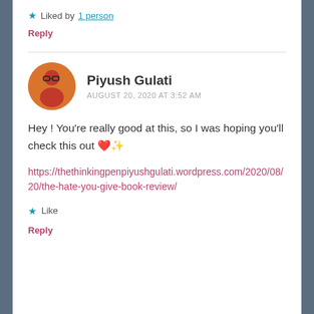★ Liked by 1 person
Reply
[Figure (photo): Circular avatar photo of Piyush Gulati, a young man wearing glasses and a pink/red turtleneck sweater against an orange background]
Piyush Gulati
AUGUST 20, 2020 AT 3:52 AM
Hey ! You're really good at this, so I was hoping you'll check this out ❤️✨
https://thethinkingpenpiyushgulati.wordpress.com/2020/08/20/the-hate-you-give-book-review/
★ Like
Reply